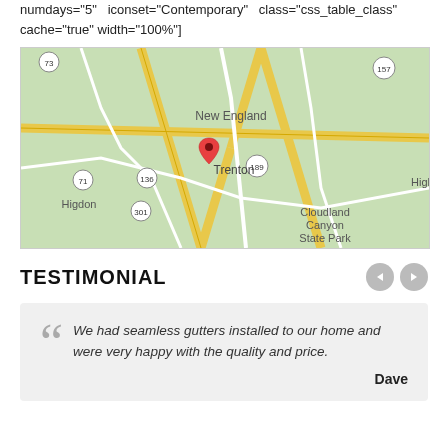numdays="5"   iconset="Contemporary"   class="css_table_class" cache="true" width="100%"]
[Figure (map): Google map showing Trenton area with marker, surrounding roads, New England label, Cloudland Canyon State Park, Higdon, and route numbers 73, 157, 71, 136, 189, 301]
TESTIMONIAL
We had seamless gutters installed to our home and were very happy with the quality and price.
- Dave